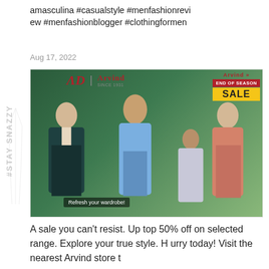amasculina #casualstyle #menfashionreview #menfashionblogger #clothingformen
Aug 17, 2022
[Figure (photo): Arvind menswear End of Season Sale advertisement showing three men in fashionable outfits — a suit, casual shirt, and floral shirt — with Arvind and AD logos, 'End of Season Sale' badge, and 'Refresh your wardrobe!' text]
A sale you can't resist. Up top 50% off on selected range. Explore your true style. H urry today! Visit the nearest Arvind store t